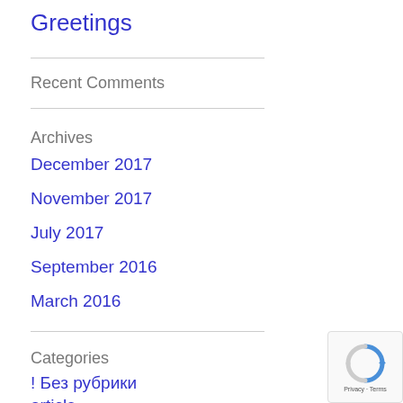Greetings
Recent Comments
Archives
December 2017
November 2017
July 2017
September 2016
March 2016
Categories
! Без рубрики
article